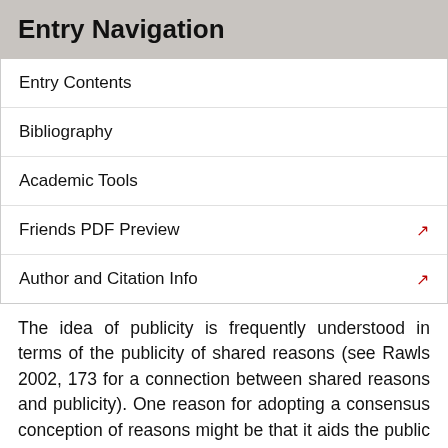Entry Navigation
Entry Contents
Bibliography
Academic Tools
Friends PDF Preview
Author and Citation Info
The idea of publicity is frequently understood in terms of the publicity of shared reasons (see Rawls 2002, 173 for a connection between shared reasons and publicity). One reason for adopting a consensus conception of reasons might be that it aids the public recognition of what is publicly justified because public justification appeals primarily to reasons that are shared (Macedo 2012). However, any public justification view (including convergence views) should appeal to some notion of publicity, since while public justification can, on some views, occur without public recognition, many make the